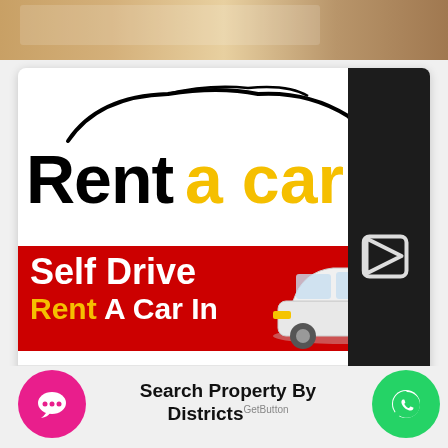[Figure (photo): Top photo strip showing a blurred desk/office scene in warm brown tones]
[Figure (illustration): Advertisement card for 'Rent a car' with car silhouette outline at top, large bold black text 'Rent' and yellow text 'a car', red banner with white 'Self Drive' and yellow/white 'Rent A Car In' text, white car image on right, Kerala Realestate chat widget at bottom, dark right panel with arrow icon]
Kerala Realestate
Chat with us
Search Property By Districts